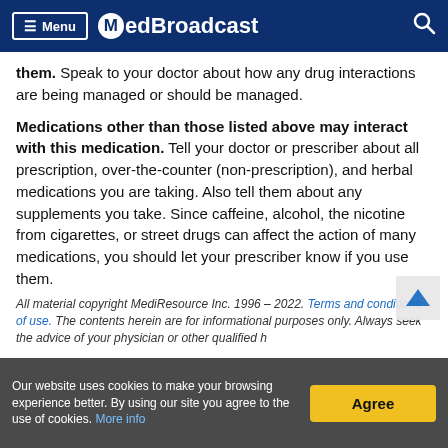Menu | MedBroadcast
them. Speak to your doctor about how any drug interactions are being managed or should be managed.
Medications other than those listed above may interact with this medication. Tell your doctor or prescriber about all prescription, over-the-counter (non-prescription), and herbal medications you are taking. Also tell them about any supplements you take. Since caffeine, alcohol, the nicotine from cigarettes, or street drugs can affect the action of many medications, you should let your prescriber know if you use them.
All material copyright MediResource Inc. 1996 – 2022. Terms and conditions of use. The contents herein are for informational purposes only. Always seek the advice of your physician or other qualified h...
Our website uses cookies to make your browsing experience better. By using our site you agree to the use of cookies. More info | Agree